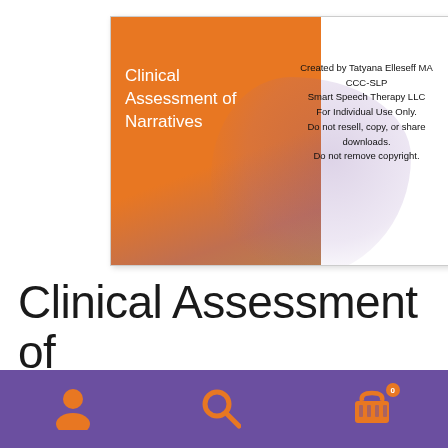[Figure (illustration): Book cover for 'Clinical Assessment of Narratives' with orange paint splash background on left and purple splatter on right, white text title on orange area, copyright notice on white area.]
Created by Tatyana Elleseff MA CCC-SLP
Smart Speech Therapy LLC
For Individual Use Only.
Do not resell, copy, or share downloads.
Do not remove copyright.
Clinical Assessment of Narratives in Speech
[Figure (infographic): Purple navigation bar at bottom with three orange icons: person/account icon on left, search/magnifying glass icon in center, shopping cart with badge showing '0' on right.]